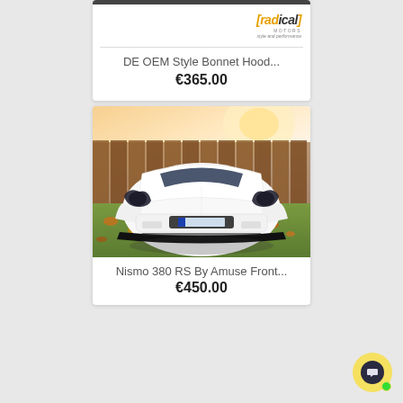[Figure (logo): [radical] Motors style and performance logo in orange and dark text]
DE OEM Style Bonnet Hood...
€365.00
[Figure (photo): Front view of a white Nissan 350Z/380Z sports car with wide body kit and carbon fiber front lip splitter, parked on grass with autumn leaves, fence in background]
Nismo 380 RS By Amuse Front...
€450.00